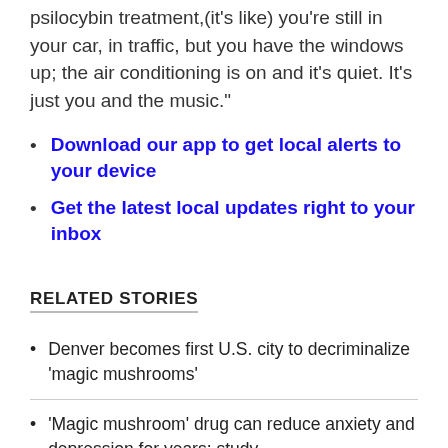psilocybin treatment,(it's like) you're still in your car, in traffic, but you have the windows up; the air conditioning is on and it's quiet. It's just you and the music."
Download our app to get local alerts to your device
Get the latest local updates right to your inbox
RELATED STORIES
Denver becomes first U.S. city to decriminalize 'magic mushrooms'
'Magic mushroom' drug can reduce anxiety and depression for years: study